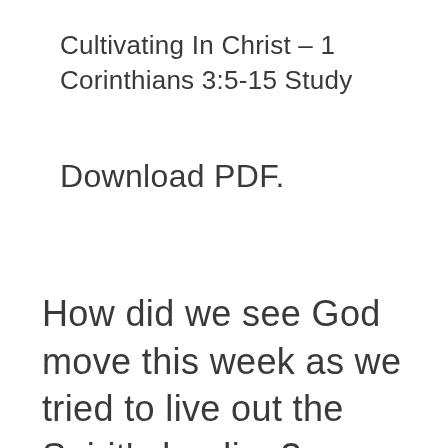Cultivating In Christ – 1 Corinthians 3:5-15 Study
Download PDF.
How did we see God move this week as we tried to live out the Spirit's leading?